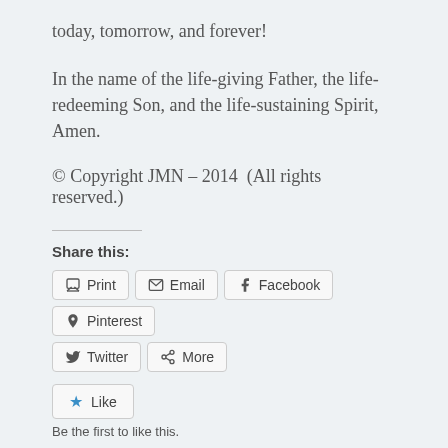today, tomorrow, and forever!
In the name of the life-giving Father, the life-redeeming Son, and the life-sustaining Spirit, Amen.
© Copyright JMN – 2014  (All rights reserved.)
Share this:
Print  Email  Facebook  Pinterest  Twitter  More
Like  Be the first to like this.
This entry was posted in Sermons and tagged 7 September 2014 sermon, church fights, conflict, Finding Your Voice, Getting to Yes, Jim